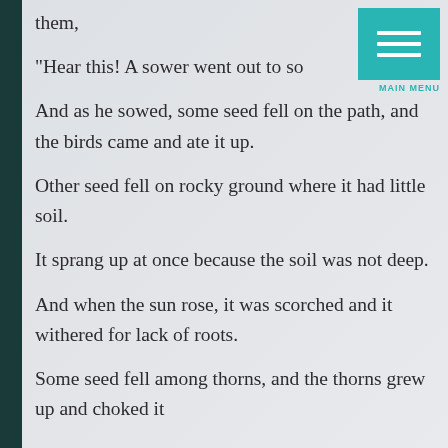them,
“Hear this! A sower went out to so…
And as he sowed, some seed fell on the path, and the birds came and ate it up.
Other seed fell on rocky ground where it had little soil.
It sprang up at once because the soil was not deep.
And when the sun rose, it was scorched and it withered for lack of roots.
Some seed fell among thorns, and the thorns grew up and choked it